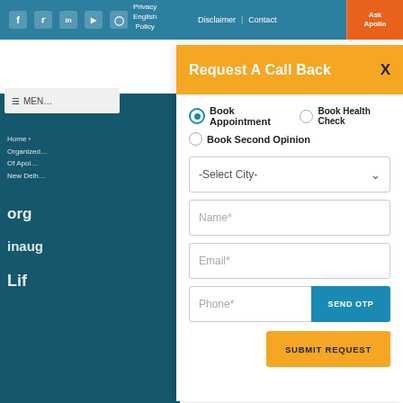f  Twitter  in  YouTube  Instagram  |  Privacy English Policy  |  Disclaimer  |  Contact  |  Ask Apollo
Request A Call Back
Book Appointment (selected)
Book Health Check
Book Second Opinion
-Select City-
Name*
Email*
Phone*
SEND OTP
SUBMIT REQUEST